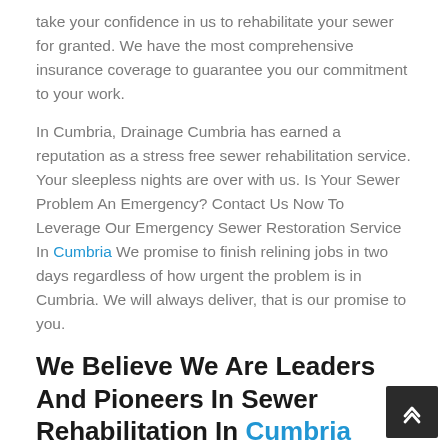take your confidence in us to rehabilitate your sewer for granted. We have the most comprehensive insurance coverage to guarantee you our commitment to your work.
In Cumbria, Drainage Cumbria has earned a reputation as a stress free sewer rehabilitation service. Your sleepless nights are over with us. Is Your Sewer Problem An Emergency? Contact Us Now To Leverage Our Emergency Sewer Restoration Service In Cumbria We promise to finish relining jobs in two days regardless of how urgent the problem is in Cumbria. We will always deliver, that is our promise to you.
We Believe We Are Leaders And Pioneers In Sewer Rehabilitation In Cumbria
We are the best choice for the most difficult work We have capacity to try out new and effective ways to solve the